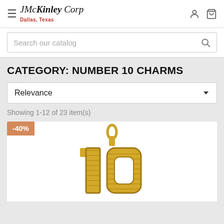J McKinley Corp Dallas, Texas
Search our catalog
CATEGORY: NUMBER 10 CHARMS
Relevance
Showing 1-12 of 23 item(s)
[Figure (photo): Gold number 10 charm pendant with bail, diamond-cut finish, with -40% discount badge]